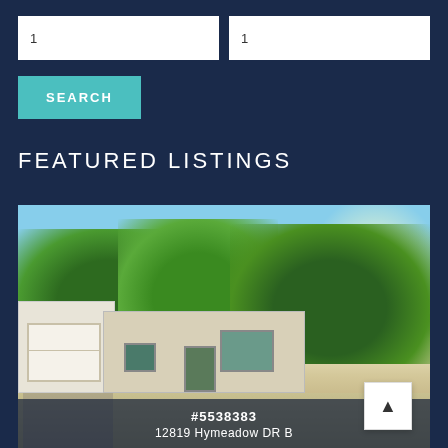1
1
SEARCH
FEATURED LISTINGS
[Figure (photo): Exterior photo of a single-story brick house with attached garage, large trees in background, sunny day. MLS listing #5538383 at 12819 Hymeadow DR B]
#5538383
12819 Hymeadow DR B